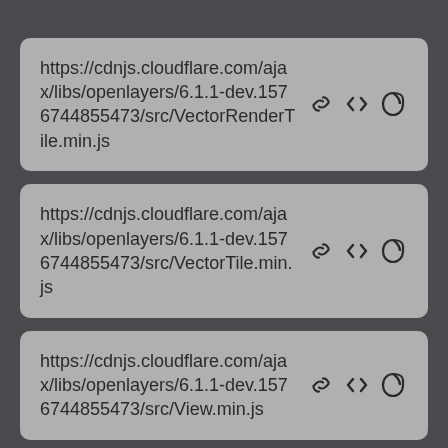https://cdnjs.cloudflare.com/ajax/libs/openlayers/6.1.1-dev.1576744855473/src/VectorRenderTile.min.js
https://cdnjs.cloudflare.com/ajax/libs/openlayers/6.1.1-dev.1576744855473/src/VectorTile.min.js
https://cdnjs.cloudflare.com/ajax/libs/openlayers/6.1.1-dev.1576744855473/src/View.min.js